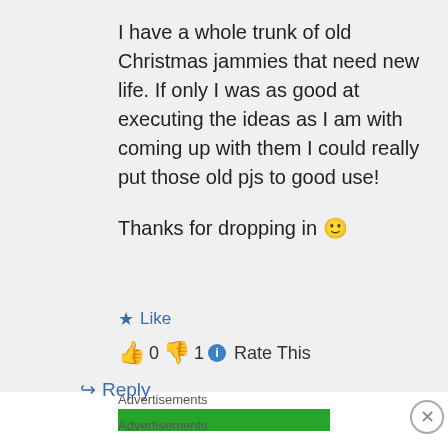I have a whole trunk of old Christmas jammies that need new life. If only I was as good at executing the ideas as I am with coming up with them I could really put those old pjs to good use!

Thanks for dropping in 🙂
★ Like
👍 0 👎 1 ℹ Rate This
↳ Reply
Advertisements
Advertisements